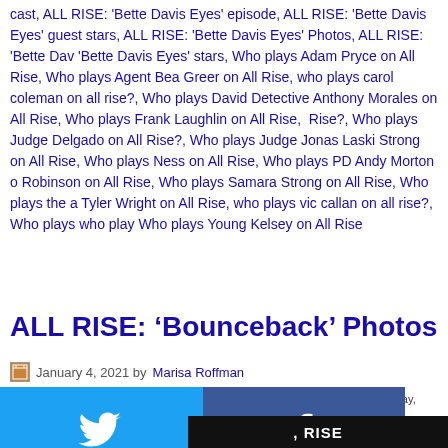cast, ALL RISE: 'Bette Davis Eyes' episode, ALL RISE: 'Bette Davis Eyes' guest stars, ALL RISE: 'Bette Davis Eyes' Photos, ALL RISE: 'Bette Davis Eyes' stars, Who plays Adam Pryce on All Rise, Who plays Agent Bea Greer on All Rise, who plays carol coleman on all rise?, Who plays David Detective Anthony Morales on All Rise, Who plays Frank Laughlin on All Rise?, Who plays Judge Delgado on All Rise?, Who plays Judge Jonas Laski Strong on All Rise, Who plays Ness on All Rise, Who plays PD Andy Morton on Robinson on All Rise, Who plays Samara Strong on All Rise, Who plays the a Tyler Wright on All Rise, who plays vic callan on all rise?, Who plays who play Who plays Young Kelsey on All Rise
ALL RISE: ‘Bounceback’ Photos
January 4, 2021 by Marisa Roffman
[Figure (infographic): Social share overlay with 6 buttons in a 2x3 grid: Twitter (light blue), Facebook (dark blue), Email (gray), WhatsApp (green), SMS (light blue), More/share (green)]
the Monday, January 4...
RISE